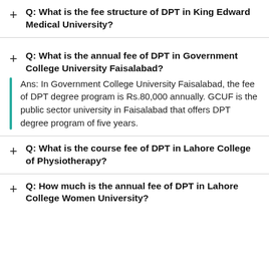Q: What is the fee structure of DPT in King Edward Medical University?
Q: What is the annual fee of DPT in Government College University Faisalabad?
Ans: In Government College University Faisalabad, the fee of DPT degree program is Rs.80,000 annually. GCUF is the public sector university in Faisalabad that offers DPT degree program of five years.
Q: What is the course fee of DPT in Lahore College of Physiotherapy?
Q: How much is the annual fee of DPT in Lahore College Women University?